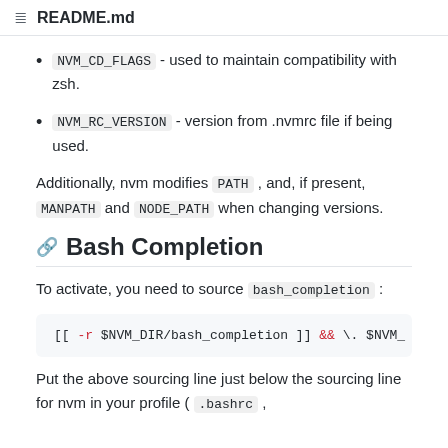README.md
NVM_CD_FLAGS - used to maintain compatibility with zsh.
NVM_RC_VERSION - version from .nvmrc file if being used.
Additionally, nvm modifies PATH , and, if present, MANPATH and NODE_PATH when changing versions.
Bash Completion
To activate, you need to source bash_completion :
[[ -r $NVM_DIR/bash_completion ]] && \. $NVM_
Put the above sourcing line just below the sourcing line for nvm in your profile ( .bashrc ,